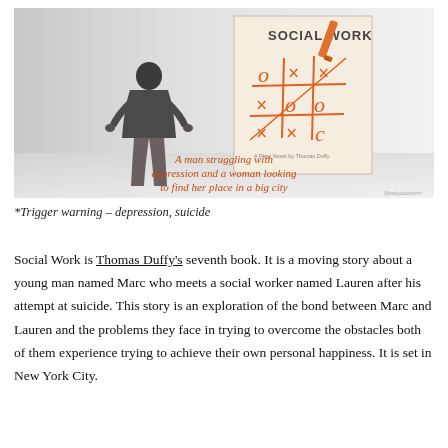[Figure (illustration): Book cover for 'Social Work' by Thomas Duffy showing a tic-tac-toe board drawn in orange on cream paper, with an orange marker. Background shows a grayscale silhouette of a man standing with hands on hips. Text in orange reads: 'A man struggling with depression and a woman looking to find her place in a big city'.]
*Trigger warning – depression, suicide
Social Work is Thomas Duffy's seventh book. It is a moving story about a young man named Marc who meets a social worker named Lauren after his attempt at suicide. This story is an exploration of the bond between Marc and Lauren and the problems they face in trying to overcome the obstacles both of them experience trying to achieve their own personal happiness. It is set in New York City.